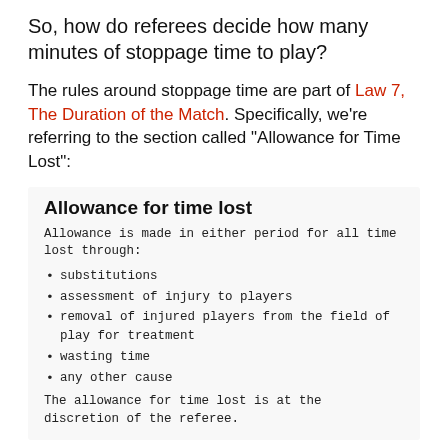So, how do referees decide how many minutes of stoppage time to play?
The rules around stoppage time are part of Law 7, The Duration of the Match. Specifically, we're referring to the section called “Allowance for Time Lost”:
Allowance for time lost
Allowance is made in either period for all time lost through:
substitutions
assessment of injury to players
removal of injured players from the field of play for treatment
wasting time
any other cause
The allowance for time lost is at the discretion of the referee.
The law also states that the decision to...